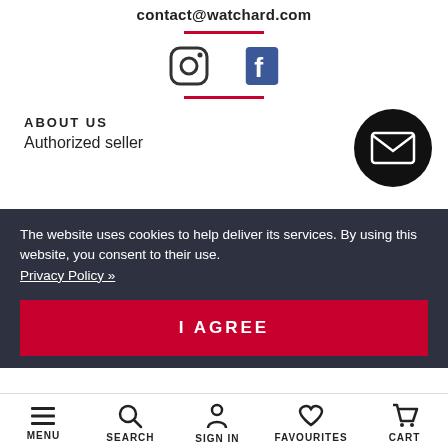contact@watchard.com
[Figure (illustration): Instagram and Facebook social media icons]
ABOUT US
Authorized seller
[Figure (illustration): Black circular mail/envelope button]
The website uses cookies to help deliver its services. By using this website, you consent to their use. Privacy Policy »
I AGREE
MENU   SEARCH   SIGN IN   FAVOURITES   CART